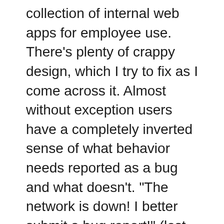collection of internal web apps for employee use. There's plenty of crappy design, which I try to fix as I come across it. Almost without exception users have a completely inverted sense of what behavior needs reported as a bug and what doesn't. "The network is down! I better submit a bug report!" (lest you think they're submitting the right thing for the wrong reason, we get many alerts if anything actually goes down) "I entered incorrect data and got a validation error message! I better submit a bug report!" "Some random employee mentioned something vague to me about something somewhere being 'wrong'! I better submit